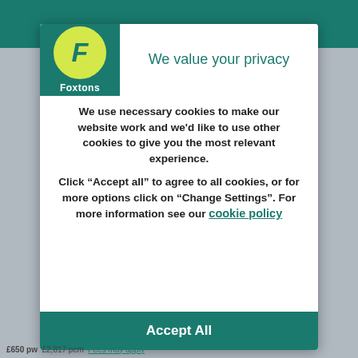[Figure (logo): Foxtons real estate agency logo: green background with yellow circle containing italic F, and 'Foxtons' text below]
We value your privacy
We use necessary cookies to make our website work and we'd like to use other cookies to give you the most relevant experience.
Click “Accept all” to agree to all cookies, or for more options click on “Change Settings”. For more information see our cookie policy
Accept All
£650 pw  £2,817 pcm  Fees may apply